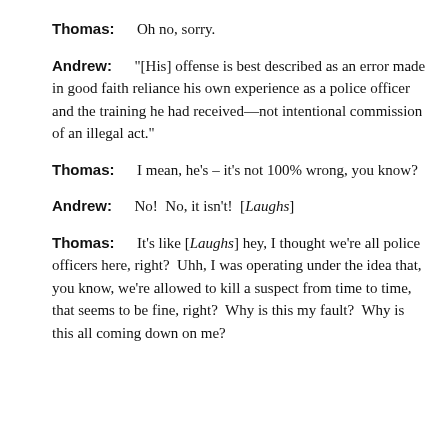Thomas: Oh no, sorry.
Andrew: "[His] offense is best described as an error made in good faith reliance his own experience as a police officer and the training he had received—not intentional commission of an illegal act."
Thomas: I mean, he's – it's not 100% wrong, you know?
Andrew: No!  No, it isn't!  [Laughs]
Thomas: It's like [Laughs] hey, I thought we're all police officers here, right?  Uhh, I was operating under the idea that, you know, we're allowed to kill a suspect from time to time, that seems to be fine, right?  Why is this my fault?  Why is this all coming down on me?